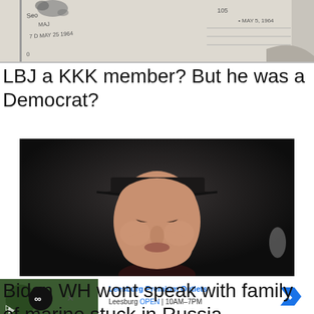[Figure (photo): Cropped image of a vintage document or map with handwritten/printed text including 'MAY 5, 1964']
LBJ a KKK member? But he was a Democrat?
[Figure (photo): Close-up portrait photo of a young white male wearing a dark cap and dark collar, looking forward against a dark background]
Biden WH wont speak with family of marine stuck in Russia
[Figure (screenshot): Advertisement banner for Leesburg Premium Outlets showing logo, navigation icon, text 'Leesburg OPEN 10AM-7PM']